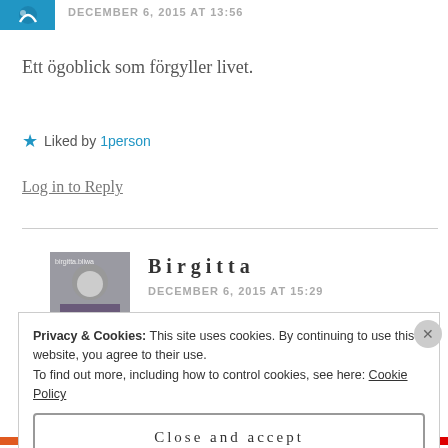DECEMBER 6, 2015 AT 13:56
Ett ögoblick som förgyller livet.
★ Liked by 1person
Log in to Reply
Birgitta
DECEMBER 6, 2015 AT 15:29
Privacy & Cookies: This site uses cookies. By continuing to use this website, you agree to their use.
To find out more, including how to control cookies, see here: Cookie Policy
Close and accept